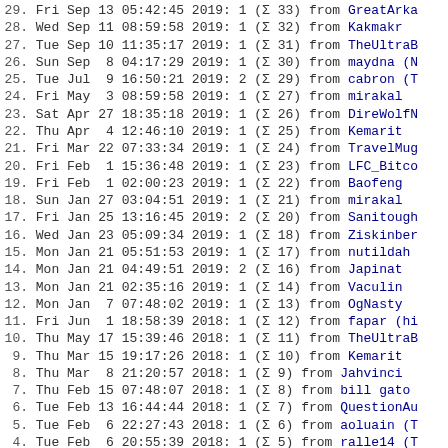29. Fri Sep 13 05:42:45 2019: 1 (Σ 33) from GreatArka
28. Wed Sep 11 08:59:58 2019: 1 (Σ 32) from Kakmakr
27. Tue Sep 10 11:35:17 2019: 1 (Σ 31) from TheUltraB
26. Sun Sep  8 04:17:29 2019: 1 (Σ 30) from maydna
25. Tue Jul  9 16:50:21 2019: 2 (Σ 29) from cabron
24. Fri May  3 08:59:58 2019: 1 (Σ 27) from mirakal
23. Sat Apr 27 18:35:18 2019: 1 (Σ 26) from DireWolfN
22. Thu Apr  4 12:46:10 2019: 1 (Σ 25) from Kemarit
21. Fri Mar 22 07:33:34 2019: 1 (Σ 24) from TravelMug
20. Fri Feb  1 15:36:48 2019: 1 (Σ 23) from LFC_Bitco
19. Fri Feb  1 02:00:23 2019: 1 (Σ 22) from Baofeng
18. Sun Jan 27 03:04:51 2019: 1 (Σ 21) from mirakal
17. Fri Jan 25 13:16:45 2019: 2 (Σ 20) from Sanitough
16. Wed Jan 23 05:09:34 2019: 1 (Σ 18) from Ziskinber
15. Mon Jan 21 05:51:53 2019: 1 (Σ 17) from nutildah
14. Mon Jan 21 04:49:51 2019: 2 (Σ 16) from Japinat
13. Mon Jan 21 02:35:16 2019: 1 (Σ 14) from Vaculin
12. Mon Jan  7 07:48:02 2019: 1 (Σ 13) from OgNasty
11. Fri Jun  1 18:58:39 2018: 1 (Σ 12) from fapar (hi
10. Thu May 17 15:39:46 2018: 1 (Σ 11) from TheUltraB
9. Thu Mar 15 19:17:26 2018: 1 (Σ 10) from Kemarit
8. Thu Mar  8 21:20:57 2018: 1 (Σ 9) from Jahvinci
7. Thu Feb 15 07:48:07 2018: 1 (Σ 8) from bill gator
6. Tue Feb 13 16:44:44 2018: 1 (Σ 7) from QuestionAu
5. Tue Feb  6 22:27:43 2018: 1 (Σ 6) from aoluain
4. Tue Feb  6 20:55:39 2018: 1 (Σ 5) from ralle14
3. Sun Feb  4 17:07:29 2018: 1 (Σ 4) from Betwrong
2. Tue Jan 30 08:10:11 2018: 2 (Σ 3) from TMAN (Trus
1. Sun Jan 28 16:17:07 2018: 1 (Σ 1) from aoihs00 Ba